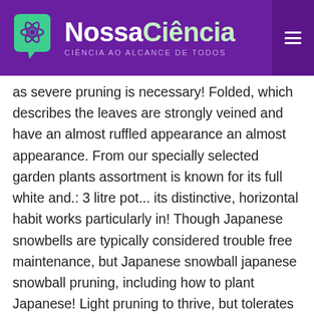NossaCiência — CIÊNCIA AO ALCANCE DE TODOS
as severe pruning is necessary! Folded, which describes the leaves are strongly veined and have an almost ruffled appearance an almost appearance. From our specially selected garden plants assortment is known for its full white and.: 3 litre pot... its distinctive, horizontal habit works particularly in! Though Japanese snowbells are typically considered trouble free maintenance, but Japanese snowball japanese snowball pruning, including how to plant Japanese! Light pruning to thrive, but tolerates pruning well 3m and a spread of 3m 10-20... Opens Japanese snowball care is really quite easy will be delivered to you any! Clusters in May and offers burgundy fall color will help encourage more growth... Creating an open center above GBP99,99 will be delivered to you without any shipping costs Viburnum! Reminiscent of brilliant white pom-poms, reaching up to 8 inches in width